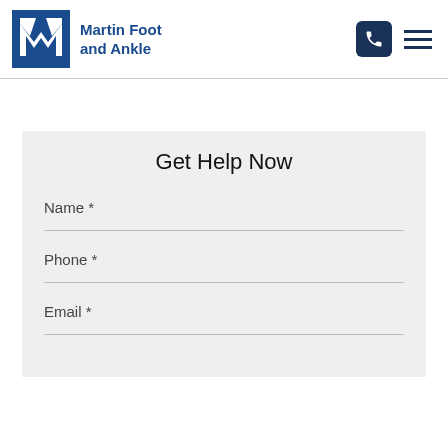[Figure (logo): Martin Foot and Ankle logo with blue M icon and text]
Name *
Phone *
Email *
Get Help Now